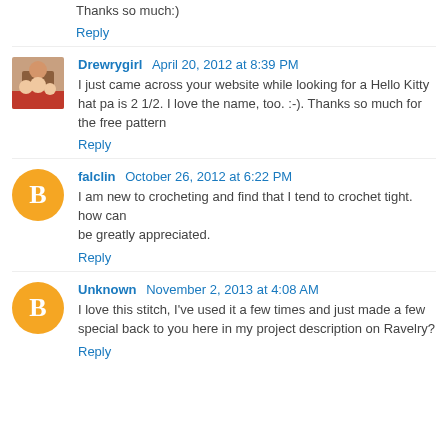Thanks so much:)
Reply
Drewrygirl  April 20, 2012 at 8:39 PM
I just came across your website while looking for a Hello Kitty hat pa is 2 1/2. I love the name, too. :-). Thanks so much for the free pattern
Reply
falclin  October 26, 2012 at 6:22 PM
I am new to crocheting and find that I tend to crochet tight. how can be greatly appreciated.
Reply
Unknown  November 2, 2013 at 4:08 AM
I love this stitch, I've used it a few times and just made a few special back to you here in my project description on Ravelry?
Reply